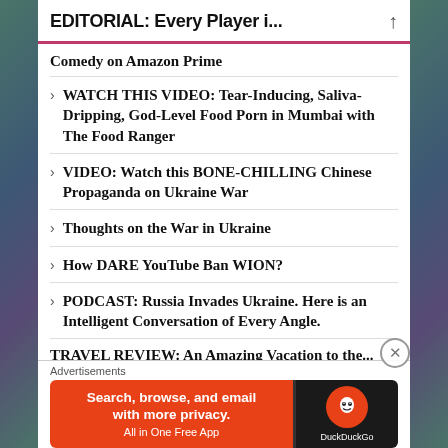EDITORIAL: Every Player i...
Comedy on Amazon Prime
WATCH THIS VIDEO: Tear-Inducing, Saliva-Dripping, God-Level Food Porn in Mumbai with The Food Ranger
VIDEO: Watch this BONE-CHILLING Chinese Propaganda on Ukraine War
Thoughts on the War in Ukraine
How DARE YouTube Ban WION?
PODCAST: Russia Invades Ukraine. Here is an Intelligent Conversation of Every Angle.
TRAVEL REVIEW: An Amazing Vacation to the...
Advertisements
[Figure (screenshot): DuckDuckGo advertisement banner: 'Search, browse, and email with more privacy. All in One Free App' with DuckDuckGo logo on dark background.]